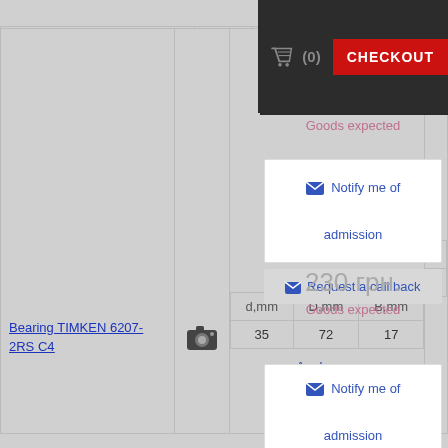[Figure (screenshot): Shopping cart header with checkout button showing (0) items]
Goods expected
|  |  | d,mm | D,mm | B,mm |  |
| --- | --- | --- | --- | --- | --- |
| Bearing ZKL 6207 2RS | [camera] | 35 | 72 | 17 | Notify me of admission / Request a call back |
| Analogues |  |  |  |  |  |
230 грн.
Goods expected
|  |  | d,mm | D,mm | B,mm |  |
| --- | --- | --- | --- | --- | --- |
| Bearing TIMKEN 6207-2RS C4 | [camera] | 35 | 72 | 17 | Notify me of admission / Request a call back |
| Analogues |  |  |  |  |  |